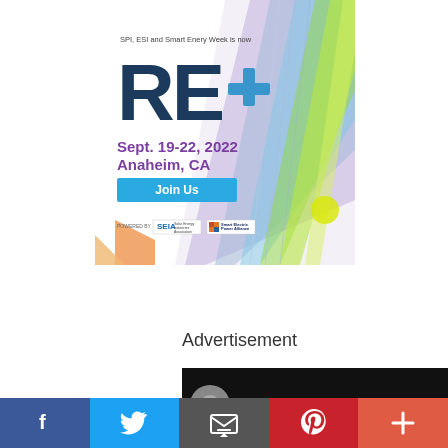[Figure (infographic): RE+ conference advertisement banner. White background with colorful diagonal gradient strips (purple, blue, green, yellow) on the right side and an orange/peach chevron at bottom left. Text reads: 'SPI, ESI and Smart Energy Week is now' above large bold dark navy logo 'RE+' with a blue plus symbol. Below: 'Sept. 19-22, 2022 Anaheim, CA' in purple bold text. A cyan 'Join Us' button. Powered by SEIA (Solar Energy Industries Association) and Smart Electric Power Alliance logos at the bottom.]
Advertisement
[Figure (photo): Dark/black background partial image showing a circular logo and partially visible white text at the bottom edge.]
f
Twitter bird icon
Email/envelope icon
Pinterest P icon
+